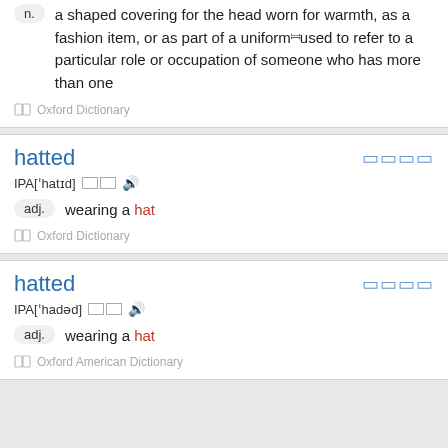n.   a shaped covering for the head worn for warmth, as a fashion item, or as part of a uniform—used to refer to a particular role or occupation of someone who has more than one
Oxford Dictionary
hatted
IPA['hatɪd]
adj.   wearing a hat
Oxford Dictionary
hatted
IPA['hadəd]
adj.   wearing a hat
Oxford American Dictionary